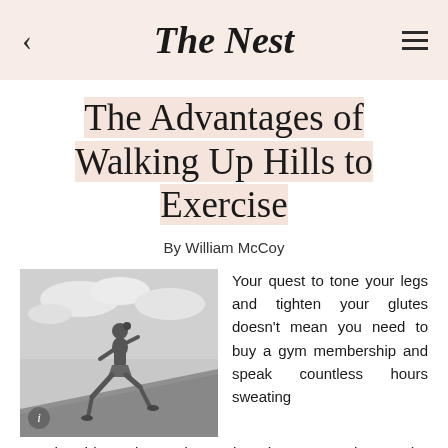The Nest
The Advantages of Walking Up Hills to Exercise
By William McCoy
[Figure (photo): Black and white photo of a woman running uphill on a grassy slope against a cloudy sky]
Your quest to tone your legs and tighten your glutes doesn't mean you need to buy a gym membership and spend countless hours sweating on the treadmill and elliptical machine. If you live